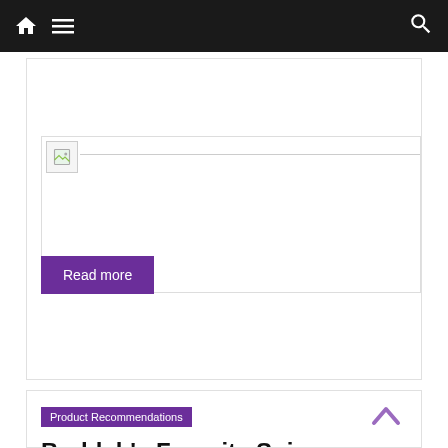Navigation bar with home, menu, and search icons
[Figure (screenshot): Broken image placeholder with thin border showing a small broken image icon in top-left corner]
Read more
Product Recommendations
Buddah's Favorite Spicy Glazes, Dipping Sauces and Marinades